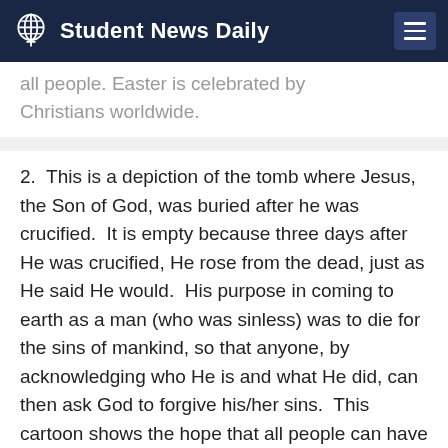Student News Daily
all people. Easter is celebrated by Christians worldwide.
2.  This is a depiction of the tomb where Jesus, the Son of God, was buried after he was crucified.  It is empty because three days after He was crucified, He rose from the dead, just as He said He would.  His purpose in coming to earth as a man (who was sinless) was to die for the sins of mankind, so that anyone, by acknowledging who He is and what He did, can then ask God to forgive his/her sins.  This cartoon shows the hope that all people can have through Jesus.
"But God demonstrates His love toward